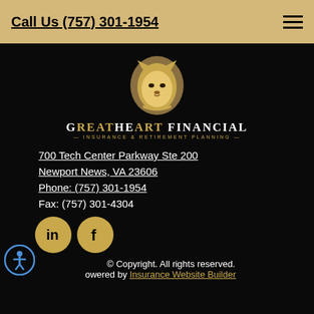Call Us (757) 301-1954
[Figure (logo): GreatHeart Financial lion logo with text: GREATHEART FINANCIAL — Insurance & Retirement Planning —]
700 Tech Center Parkway Ste 200
Newport News, VA 23606
Phone: (757) 301-1954
Fax: (757) 301-4304
[Figure (logo): LinkedIn social media icon (gold circle with 'in' text)]
[Figure (logo): Facebook social media icon (gold circle with 'f' text)]
© Copyright. All rights reserved.
Powered by Insurance Website Builder